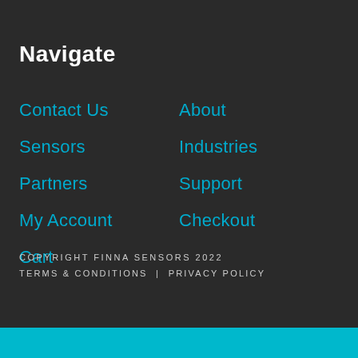Navigate
Contact Us
Sensors
Partners
My Account
Cart
About
Industries
Support
Checkout
COPYRIGHT FINNA SENSORS 2022  TERMS & CONDITIONS |  PRIVACY POLICY